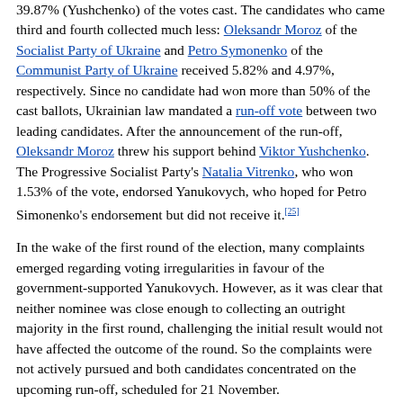39.87% (Yushchenko) of the votes cast. The candidates who came third and fourth collected much less: Oleksandr Moroz of the Socialist Party of Ukraine and Petro Symonenko of the Communist Party of Ukraine received 5.82% and 4.97%, respectively. Since no candidate had won more than 50% of the cast ballots, Ukrainian law mandated a run-off vote between two leading candidates. After the announcement of the run-off, Oleksandr Moroz threw his support behind Viktor Yushchenko. The Progressive Socialist Party's Natalia Vitrenko, who won 1.53% of the vote, endorsed Yanukovych, who hoped for Petro Simonenko's endorsement but did not receive it.[25]
In the wake of the first round of the election, many complaints emerged regarding voting irregularities in favour of the government-supported Yanukovych. However, as it was clear that neither nominee was close enough to collecting an outright majority in the first round, challenging the initial result would not have affected the outcome of the round. So the complaints were not actively pursued and both candidates concentrated on the upcoming run-off, scheduled for 21 November.
Pora! activists were arrested in October 2004, but the release of many (reportedly on President Kuchma's personal order) gave growing confidence to the opposition.[26]
Yanukovych was not initially elected, but on the...